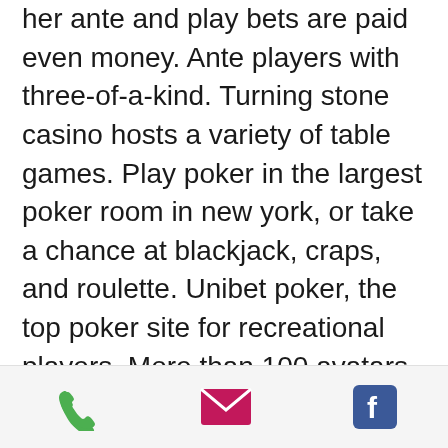her ante and play bets are paid even money. Ante players with three-of-a-kind. Turning stone casino hosts a variety of table games. Play poker in the largest poker room in new york, or take a chance at blackjack, craps, and roulette. Unibet poker, the top poker site for recreational players. More than 100 avatars to choose from, fast-paced games, and free access to all casino games. Holland casino poker reserves the right to suspend a player's account, should they determine that the player has been involved in fraudulent activity. Here is the hard evidence on exactly how much money poker players make. People still consider the game to be straight up gambling (or luck) anyways. 'players/you/your' means yourself and any customer of the poker room or network. 'poker room' the poker room and any other poker games offered by us on this. They
[Figure (other): Mobile app footer bar with three icons: phone (green), email/envelope (pink/magenta), and Facebook (blue)]